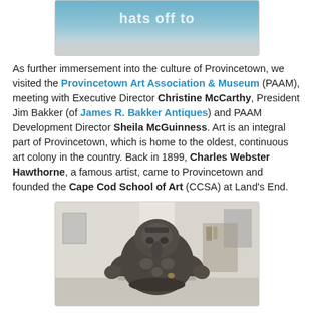[Figure (photo): Top portion of a photo showing a sign with text 'hats off to' on a light blue/grey background]
As further immersement into the culture of Provincetown, we visited the Provincetown Art Association & Museum (PAAM), meeting with Executive Director Christine McCarthy, President Jim Bakker (of James R. Bakker Antiques) and PAAM Development Director Sheila McGuinness. Art is an integral part of Provincetown, which is home to the oldest, continuous art colony in the country. Back in 1899, Charles Webster Hawthorne, a famous artist, came to Provincetown and founded the Cape Cod School of Art (CCSA) at Land's End.
[Figure (photo): A bronze or stone sculpture of a decorative elephant-like figure (possibly Ganesha) displayed in a museum gallery, with white walls and artwork visible in the background]